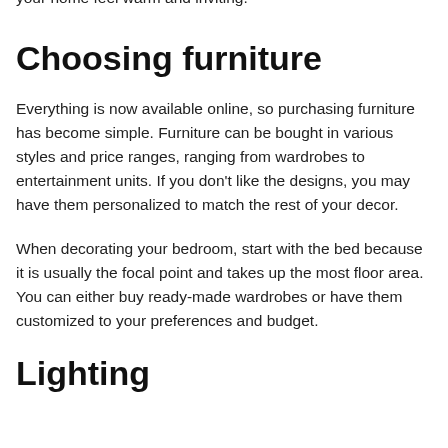quickly. Your chosen color scheme should serve to make your home feel warm and inviting.
Choosing furniture
Everything is now available online, so purchasing furniture has become simple. Furniture can be bought in various styles and price ranges, ranging from wardrobes to entertainment units. If you don't like the designs, you may have them personalized to match the rest of your decor.
When decorating your bedroom, start with the bed because it is usually the focal point and takes up the most floor area. You can either buy ready-made wardrobes or have them customized to your preferences and budget.
Lighting